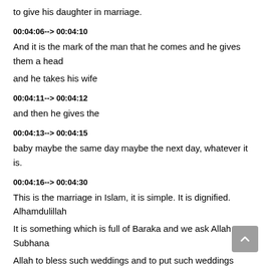to give his daughter in marriage.
00:04:06--> 00:04:10
And it is the mark of the man that he comes and he gives them a head and he takes his wife
00:04:11--> 00:04:12
and then he gives the
00:04:13--> 00:04:15
baby maybe the same day maybe the next day, whatever it is.
00:04:16--> 00:04:30
This is the marriage in Islam, it is simple. It is dignified. Alhamdulillah It is something which is full of Baraka and we ask Allah Subhana Allah to bless such weddings and to put such weddings which are